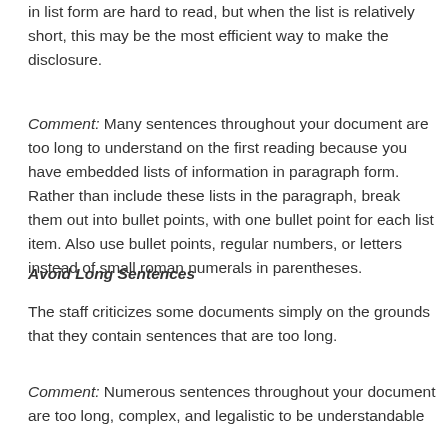in list form are hard to read, but when the list is relatively short, this may be the most efficient way to make the disclosure.
Comment: Many sentences throughout your document are too long to understand on the first reading because you have embedded lists of information in paragraph form. Rather than include these lists in the paragraph, break them out into bullet points, with one bullet point for each list item. Also use bullet points, regular numbers, or letters instead of small roman numerals in parentheses.
Avoid Long Sentences
The staff criticizes some documents simply on the grounds that they contain sentences that are too long.
Comment: Numerous sentences throughout your document are too long, complex, and legalistic to be understandable